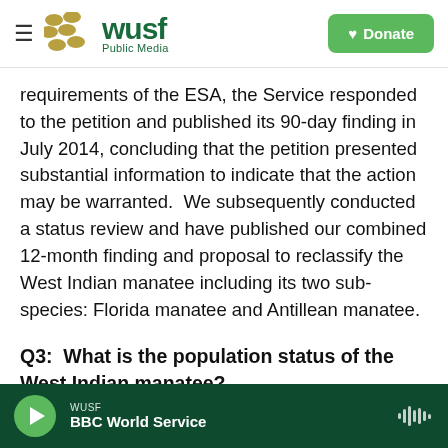WUSF Public Media — Donate
requirements of the ESA, the Service responded to the petition and published its 90-day finding in July 2014, concluding that the petition presented substantial information to indicate that the action may be warranted.  We subsequently conducted a status review and have published our combined 12-month finding and proposal to reclassify the West Indian manatee including its two sub-species: Florida manatee and Antillean manatee.
Q3:  What is the population status of the West Indian manatee?
WUSF BBC World Service